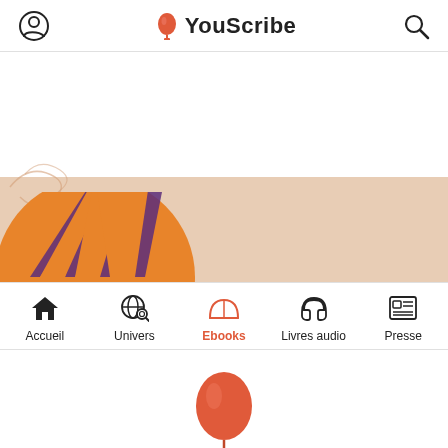YouScribe
[Figure (illustration): Hot air balloon illustration with orange and purple stripes, with a beige/tan banner background and decorative swirls]
[Figure (infographic): Navigation bar with icons: Accueil (home), Univers (globe with magnifier), Ebooks (book, active in red/orange), Livres audio (headphones), Presse (newspaper)]
[Figure (logo): YouScribe red/orange hot air balloon logo icon centered at bottom]